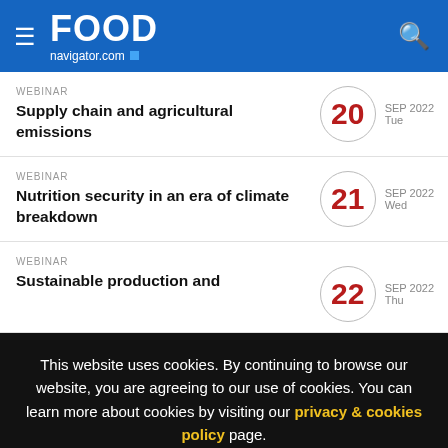FOOD navigator.com
WEBINAR
Supply chain and agricultural emissions
20 SEP 2022 Tue
WEBINAR
Nutrition security in an era of climate breakdown
21 SEP 2022 Wed
WEBINAR
Sustainable production and
22 SEP 2022 Thu
This website uses cookies. By continuing to browse our website, you are agreeing to our use of cookies. You can learn more about cookies by visiting our privacy & cookies policy page.
I Agree